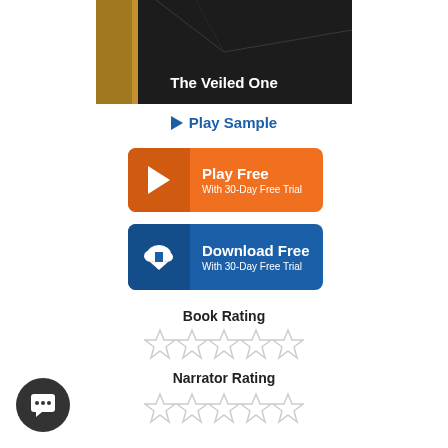[Figure (illustration): Book cover image for 'The Veiled One' showing a dark corridor/tunnel with golden/amber stripe on left side]
▶ Play Sample
[Figure (other): Orange 'Play Free / With 30-Day Free Trial' button with play arrow icon]
[Figure (other): Blue 'Download Free / With 30-Day Free Trial' button with cloud download icon]
Book Rating
[Figure (other): Five empty/unfilled star rating icons for Book Rating]
Narrator Rating
[Figure (other): Five empty/unfilled star rating icons for Narrator Rating]
[Figure (other): Dark circular chat/messenger button in bottom left corner with white speech bubble icon]